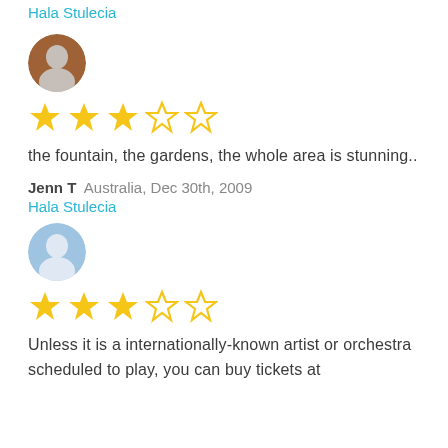Hala Stulecia
[Figure (photo): Circular avatar photo of a person silhouette with dark/warm background]
[Figure (other): 3 filled gold stars and 2 empty gold stars (3 out of 5 rating)]
the fountain, the gardens, the whole area is stunning..
Jenn T  Australia, Dec 30th, 2009
Hala Stulecia
[Figure (photo): Circular avatar photo of a person silhouette with bright/blue background]
[Figure (other): 3 filled gold stars and 2 empty gold stars (3 out of 5 rating)]
Unless it is a internationally-known artist or orchestra scheduled to play, you can buy tickets at